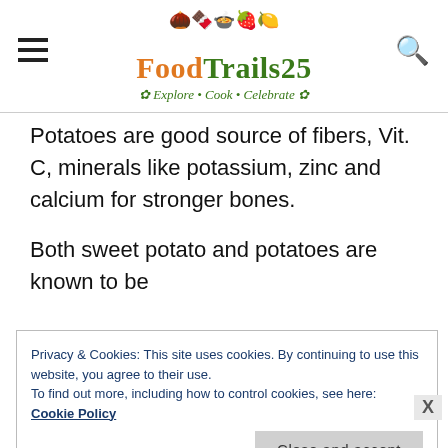[Figure (logo): FoodTrails25 logo with food icons, tagline Explore Cook Celebrate]
Potatoes are good source of fibers, Vit. C, minerals like potassium, zinc and calcium for stronger bones.
Both sweet potato and potatoes are known to be
Privacy & Cookies: This site uses cookies. By continuing to use this website, you agree to their use.
To find out more, including how to control cookies, see here: Cookie Policy
Close and accept
HOW TO MAKE ALOO AUR...